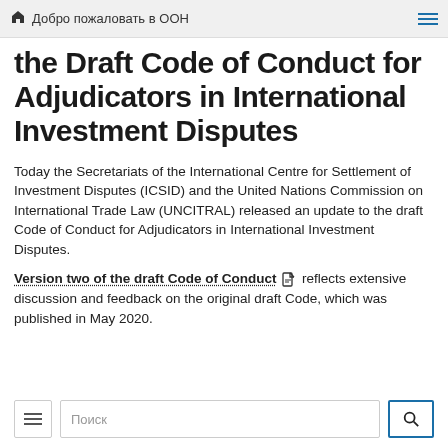Добро пожаловать в ООН
the Draft Code of Conduct for Adjudicators in International Investment Disputes
Today the Secretariats of the International Centre for Settlement of Investment Disputes (ICSID) and the United Nations Commission on International Trade Law (UNCITRAL) released an update to the draft Code of Conduct for Adjudicators in International Investment Disputes.
Version two of the draft Code of Conduct [PDF] reflects extensive discussion and feedback on the original draft Code, which was published in May 2020.